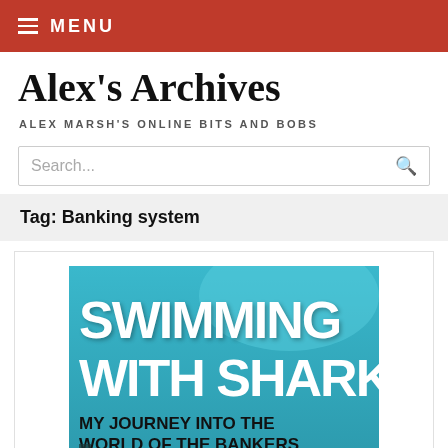MENU
Alex's Archives
ALEX MARSH'S ONLINE BITS AND BOBS
Search...
Tag: Banking system
[Figure (photo): Book cover: 'Swimming With Sharks – My Journey Into The World Of The Bankers'. Teal/blue background with large white bold text and silhouettes of city buildings at bottom.]